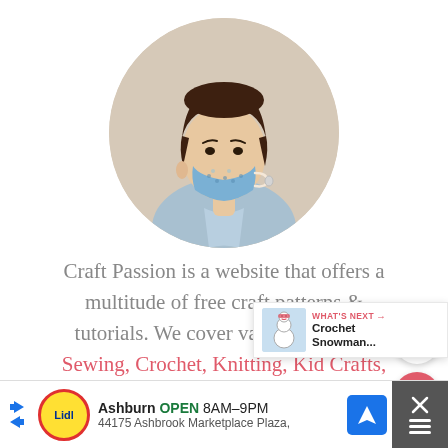[Figure (photo): Circular profile photo of an Asian woman wearing a blue crocheted/knitted face mask, short dark hair, light blue shirt, against a beige background]
Craft Passion is a website that offers a multitude of free craft patterns & tutorials. We cover various conte as Sewing, Crochet, Knitting, Kid Crafts,
[Figure (screenshot): What's Next overlay panel showing a Crochet Snowman... thumbnail with red arrow label]
[Figure (screenshot): Lidl ad banner: Ashburn OPEN 8AM-9PM, 44175 Ashbrook Marketplace Plaza, with navigation arrow button and close button]